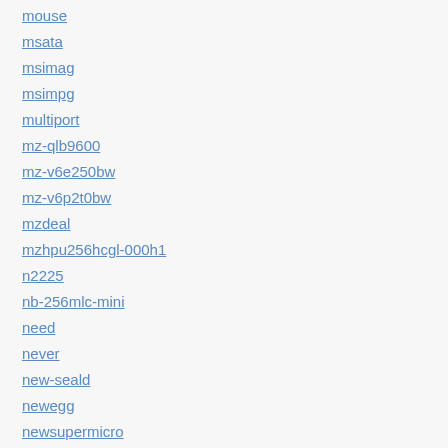mouse
msata
msimag
msimpg
multiport
mz-qlb9600
mz-v6e250bw
mz-v6p2t0bw
mzdeal
mzhpu256hcgl-000h1
n2225
nb-256mlc-mini
need
never
new-seald
newegg
newsupermicro
nikon
nolex
nvidia